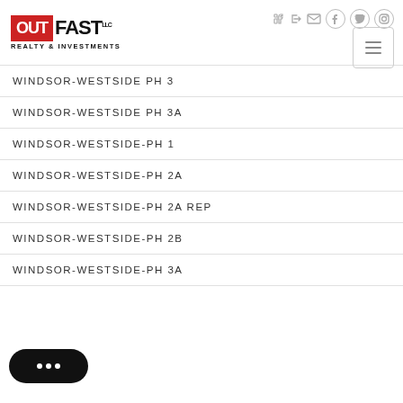OUTFAST REALTY & INVESTMENTS
WINDSOR-WESTSIDE PH 3
WINDSOR-WESTSIDE PH 3A
WINDSOR-WESTSIDE-PH 1
WINDSOR-WESTSIDE-PH 2A
WINDSOR-WESTSIDE-PH 2A REP
WINDSOR-WESTSIDE-PH 2B
WINDSOR-WESTSIDE-PH 3A